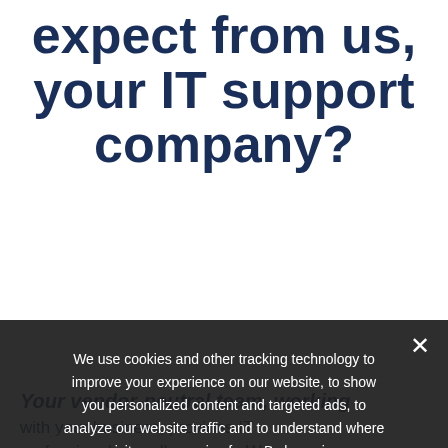expect from us, your IT support company?
Your ve... ing with... professionals w...all expense. We build personal relationships with our clients, we listen to your needs and goals and offer suggestions based on industry standards.
We use cookies and other tracking technology to improve your experience on our website, to show you personalized content and targeted ads, to analyze our website traffic and to understand where our visitors are coming from. By browsing our website, you consent to our use of cookies and other tracking technologies.
Privacy Preferences
I Agree